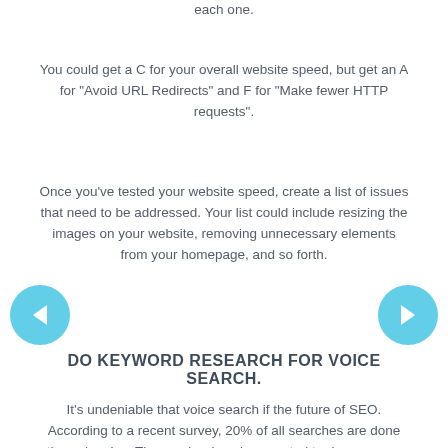each one.
You could get a C for your overall website speed, but get an A for “Avoid URL Redirects” and F for “Make fewer HTTP requests”.
Once you’ve tested your website speed, create a list of issues that need to be addressed. Your list could include resizing the images on your website, removing unnecessary elements from your homepage, and so forth.
DO KEYWORD RESEARCH FOR VOICE SEARCH.
It’s undeniable that voice search if the future of SEO. According to a recent survey, 20% of all searches are done through voice. The number is only expected to rise as more people gain access to mobile phones and devices like Alexa and Google Home.